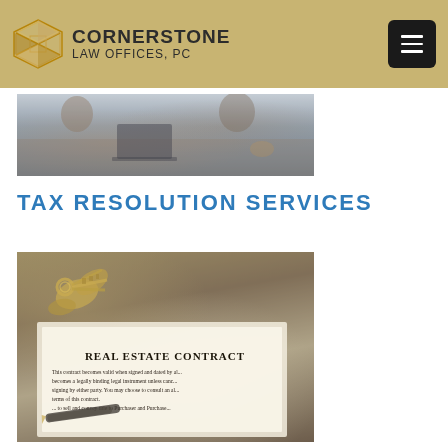CORNERSTONE LAW OFFICES, PC
[Figure (photo): Business meeting scene with people around a table with a laptop, gesturing hands, and suits visible]
TAX RESOLUTION SERVICES
[Figure (photo): Real estate contract document with keys and a pen on top, text reading REAL ESTATE CONTRACT visible]